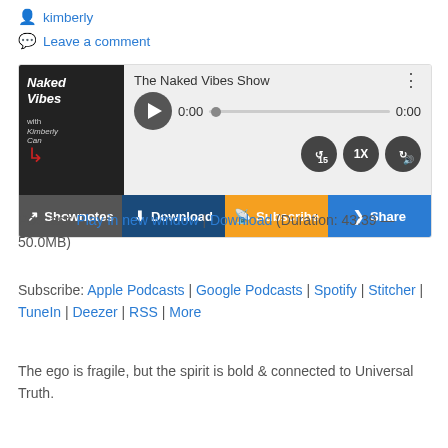kimberly
Leave a comment
[Figure (screenshot): Podcast player widget for 'The Naked Vibes Show' with play button, progress bar, time display 0:00, and control buttons for rewind 15s, 1x speed, and volume. Bottom bar has Shownotes, Download, Subscribe, and Share buttons.]
Podcast: Play in new window | Download (Duration: 43:39 — 50.0MB)
Subscribe: Apple Podcasts | Google Podcasts | Spotify | Stitcher | TuneIn | Deezer | RSS | More
The ego is fragile, but the spirit is bold & connected to Universal Truth.